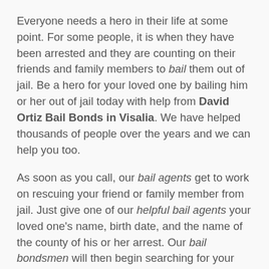Everyone needs a hero in their life at some point. For some people, it is when they have been arrested and they are counting on their friends and family members to bail them out of jail. Be a hero for your loved one by bailing him or her out of jail today with help from David Ortiz Bail Bonds in Visalia. We have helped thousands of people over the years and we can help you too.
As soon as you call, our bail agents get to work on rescuing your friend or family member from jail. Just give one of our helpful bail agents your loved one's name, birth date, and the name of the county of his or her arrest. Our bail bondsmen will then begin searching for your loved one in the county jail system. Once they find your loved one in the county database, they will be able to fill out the paperwork and tell you the price of your loved one's bail.
Unlike our competitors, we will instantly start rescuing your...